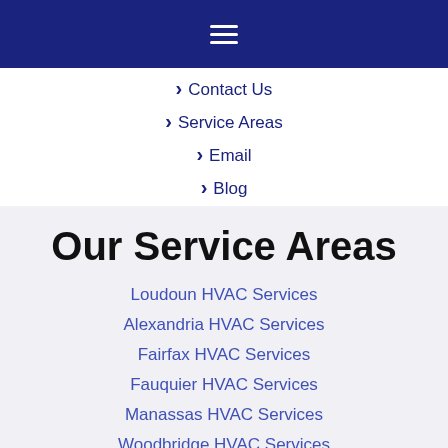Navigation bar with hamburger menu icon
Contact Us
Service Areas
Email
Blog
Our Service Areas
Loudoun HVAC Services
Alexandria HVAC Services
Fairfax HVAC Services
Fauquier HVAC Services
Manassas HVAC Services
Woodbridge HVAC Services
Prince William County HVAC Services
Falls Church HVAC Services
Arlington HVAC Services